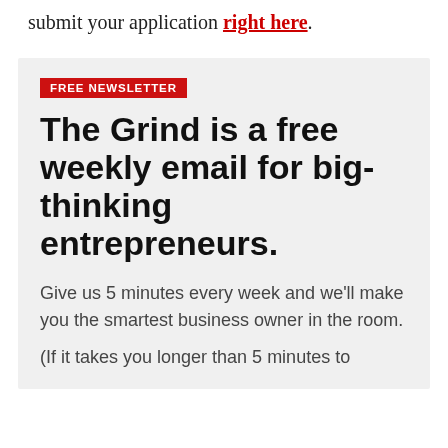submit your application right here.
FREE NEWSLETTER
The Grind is a free weekly email for big-thinking entrepreneurs.
Give us 5 minutes every week and we'll make you the smartest business owner in the room.
(If it takes you longer than 5 minutes to